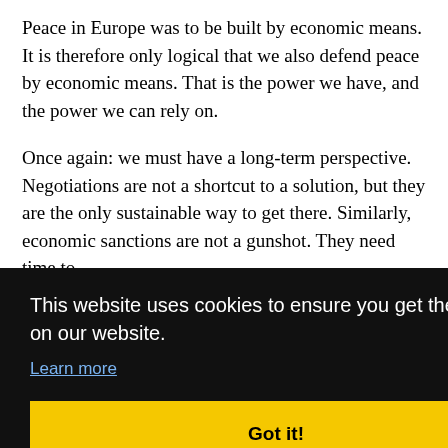Peace in Europe was to be built by economic means. It is therefore only logical that we also defend peace by economic means. That is the power we have, and the power we can rely on.
Once again: we must have a long-term perspective. Negotiations are not a shortcut to a solution, but they are the only sustainable way to get there. Similarly, economic sanctions are not a gunshot. They need time to [work. The latest] [... ng the] [... other] [... ight] [... trade]
[Figure (screenshot): Cookie consent overlay banner with black background. Text reads: 'This website uses cookies to ensure you get the best experience on our website.' with a 'Learn more' link and a yellow 'Got it!' button.]